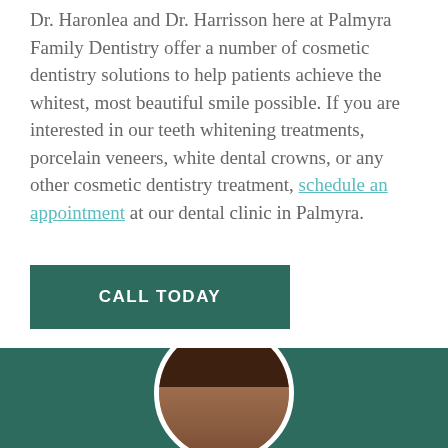Dr. Haronlea and Dr. Harrisson here at Palmyra Family Dentistry offer a number of cosmetic dentistry solutions to help patients achieve the whitest, most beautiful smile possible. If you are interested in our teeth whitening treatments, porcelain veneers, white dental crowns, or any other cosmetic dentistry treatment, schedule an appointment at our dental clinic in Palmyra.
CALL TODAY
[Figure (photo): Circular portrait photo of a person with dark hair, shown from shoulders up, set against a dark green background section at the bottom of the page.]